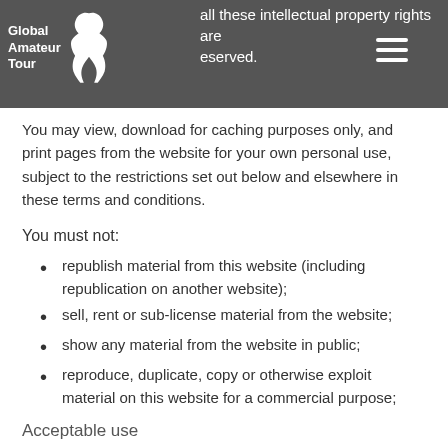all these intellectual property rights are reserved. Global Amateur Tour
You may view, download for caching purposes only, and print pages from the website for your own personal use, subject to the restrictions set out below and elsewhere in these terms and conditions.
You must not:
republish material from this website (including republication on another website);
sell, rent or sub-license material from the website;
show any material from the website in public;
reproduce, duplicate, copy or otherwise exploit material on this website for a commercial purpose;
Acceptable use